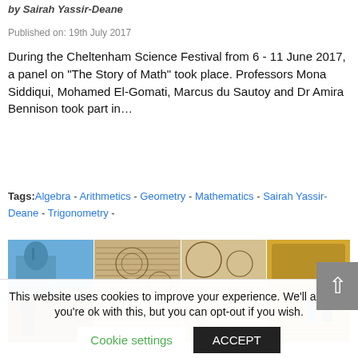by Sairah Yassir-Deane
Published on: 19th July 2017
During the Cheltenham Science Festival from 6 - 11 June 2017, a panel on "The Story of Math" took place. Professors Mona Siddiqui, Mohamed El-Gomati, Marcus du Sautoy and Dr Amira Bennison took part in…
Tags: Algebra - Arithmetics - Geometry - Mathematics - Sairah Yassir-Deane - Trigonometry -
[Figure (photo): Collage of four images related to Islamic mathematics: a statue against a blue sky with mosque, Arabic mathematical manuscripts with geometric diagrams, manuscript pages with circles and diagrams, and a miniature painting of scholars studying.]
This website uses cookies to improve your experience. We'll assume you're ok with this, but you can opt-out if you wish.
Cookie settings
ACCEPT